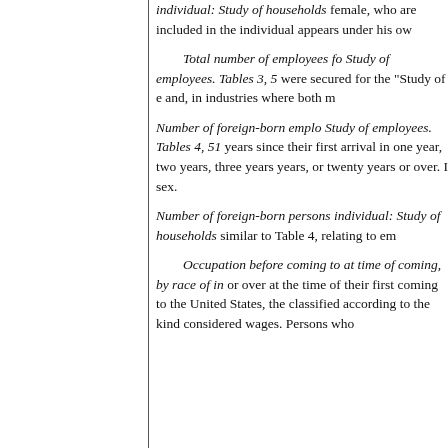individual: Study of households female, who are included in the individual appears under his ow
Total number of employees fo Study of employees. Tables 3, 5 were secured for the "Study of e and, in industries where both m
Number of foreign-born emplo Study of employees. Tables 4, 51 years since their first arrival in one year, two years, three years years, or twenty years or over. I sex.
Number of foreign-born persons individual: Study of households similar to Table 4, relating to em
Occupation before coming to at time of coming, by race of in or over at the time of their first coming to the United States, the classified according to the kind considered wages. Persons who